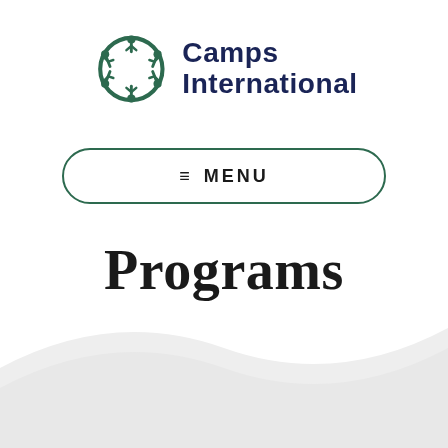[Figure (logo): Camps International logo with circular green people icon and dark navy text reading Camps International]
≡ MENU
Programs